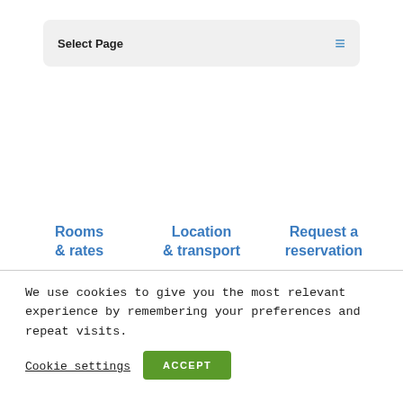Select Page
Rooms & rates
Location & transport
Request a reservation
We use cookies to give you the most relevant experience by remembering your preferences and repeat visits.
Cookie settings
ACCEPT